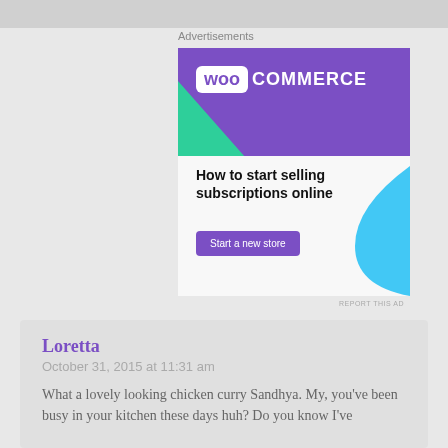Advertisements
[Figure (illustration): WooCommerce advertisement banner: purple top section with WooCommerce logo, green triangle shape, text 'How to start selling subscriptions online', purple 'Start a new store' button, blue curved shape on right side]
REPORT THIS AD
Loretta
October 31, 2015 at 11:31 am
What a lovely looking chicken curry Sandhya. My, you've been busy in your kitchen these days huh? Do you know I've